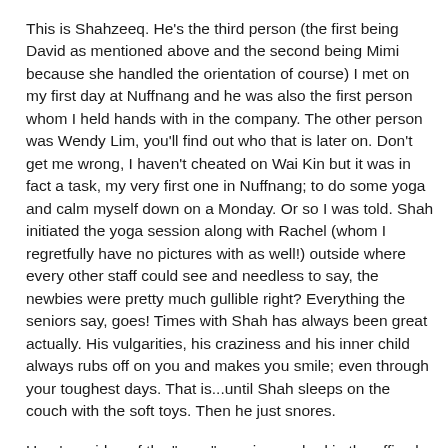This is Shahzeeq. He's the third person (the first being David as mentioned above and the second being Mimi because she handled the orientation of course) I met on my first day at Nuffnang and he was also the first person whom I held hands with in the company. The other person was Wendy Lim, you'll find out who that is later on. Don't get me wrong, I haven't cheated on Wai Kin but it was in fact a task, my very first one in Nuffnang; to do some yoga and calm myself down on a Monday. Or so I was told. Shah initiated the yoga session along with Rachel (whom I regretfully have no pictures with as well!) outside where every other staff could see and needless to say, the newbies were pretty much gullible right? Everything the seniors say, goes! Times with Shah has always been great actually. His vulgarities, his craziness and his inner child always rubs off on you and makes you smile; even through your toughest days. That is...until Shah sleeps on the couch with the soft toys. Then he just snores.
Here's a video of the "yoga" session we had in the office by Shah and Rachel, just in case anyone would like to see. Go